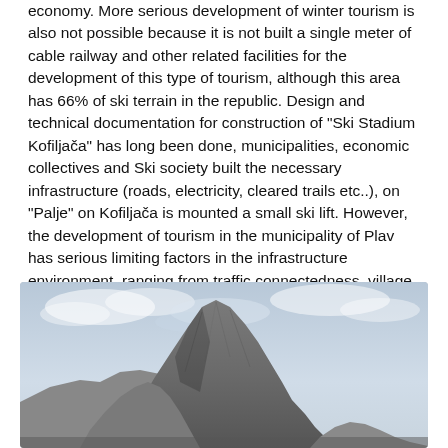economy. More serious development of winter tourism is also not possible because it is not built a single meter of cable railway and other related facilities for the development of this type of tourism, although this area has 66% of ski terrain in the republic. Design and technical documentation for construction of "Ski Stadium Kofiljača" has long been done, municipalities, economic collectives and Ski society built the necessary infrastructure (roads, electricity, cleared trails etc..), on "Palje" on Kofiljača is mounted a small ski lift. However, the development of tourism in the municipality of Plav has serious limiting factors in the infrastructure environment, ranging from traffic connectedness, village water supply, electricity supply, furnishing and provision of public utilities and other service providers, marketing and media isolation and the like.
[Figure (photo): A dramatic rocky mountain peak rising sharply against a cloudy sky, with steep grey rock faces and ridges visible.]